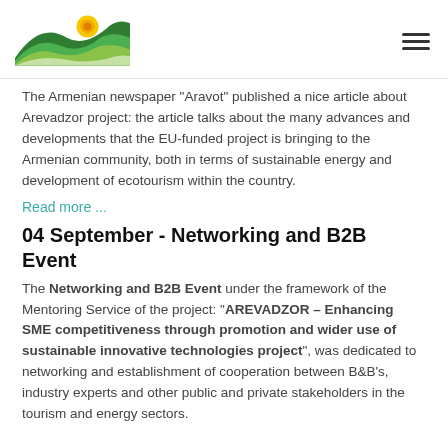[Figure (logo): Arevadzor project logo: green mountain waves with yellow sun icon]
The Armenian newspaper "Aravot" published a nice article about Arevadzor project: the article talks about the many advances and developments that the EU-funded project is bringing to the Armenian community, both in terms of sustainable energy and development of ecotourism within the country.
Read more ...
04 September - Networking and B2B Event
The Networking and B2B Event under the framework of the Mentoring Service of the project: "AREVADZOR – Enhancing SME competitiveness through promotion and wider use of sustainable innovative technologies project", was dedicated to networking and establishment of cooperation between B&B's, industry experts and other public and private stakeholders in the tourism and energy sectors.